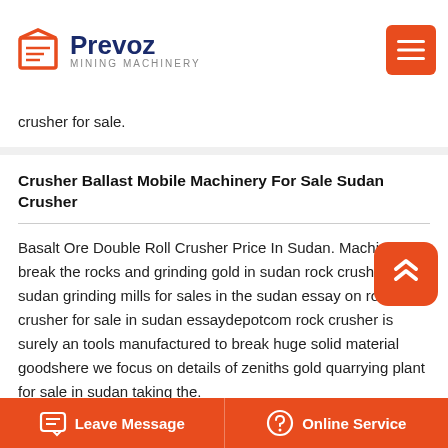Prevoz Mining Machinery
crusher for sale.
Crusher Ballast Mobile Machinery For Sale Sudan Crusher
Basalt Ore Double Roll Crusher Price In Sudan. Machine to break the rocks and grinding gold in sudan rock crusher for in sudan grinding mills for sales in the sudan essay on rock crusher for sale in sudan essaydepotcom rock crusher is surely an tools manufactured to break huge solid material goodshere we focus on details of zeniths gold quarrying plant for sale in sudan taking the.
Mobile Iron Ore Cone Crusher For Sale In Malaysia
Leave Message  Online Service